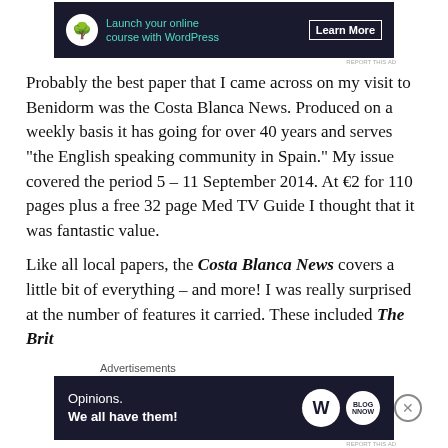[Figure (other): Advertisement banner: dark navy background with bonsai tree icon, teal text 'Launch your online course with WordPress' and white 'Learn More' button]
Probably the best paper that I came across on my visit to Benidorm was the Costa Blanca News. Produced on a weekly basis it has going for over 40 years and serves “the English speaking community in Spain.” My issue covered the period 5 – 11 September 2014. At €2 for 110 pages plus a free 32 page Med TV Guide I thought that it was fantastic value.
Like all local papers, the Costa Blanca News covers a little bit of everything – and more! I was really surprised at the number of features it carried. These included The Brit
[Figure (other): Advertisement banner: dark navy background with text 'Opinions. We all have them!' and WordPress W logo plus Brand logo circles on the right]
Advertisements
REPORT THIS AD